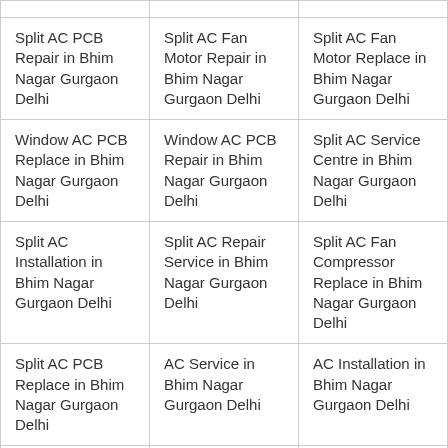|  |  |  |
| Split AC PCB Repair in Bhim Nagar Gurgaon Delhi | Split AC Fan Motor Repair in Bhim Nagar Gurgaon Delhi | Split AC Fan Motor Replace in Bhim Nagar Gurgaon Delhi |
| Window AC PCB Replace in Bhim Nagar Gurgaon Delhi | Window AC PCB Repair in Bhim Nagar Gurgaon Delhi | Split AC Service Centre in Bhim Nagar Gurgaon Delhi |
| Split AC Installation in Bhim Nagar Gurgaon Delhi | Split AC Repair Service in Bhim Nagar Gurgaon Delhi | Split AC Fan Compressor Replace in Bhim Nagar Gurgaon Delhi |
| Split AC PCB Replace in Bhim Nagar Gurgaon Delhi | AC Service in Bhim Nagar Gurgaon Delhi | AC Installation in Bhim Nagar Gurgaon Delhi |
| Window AC | AC Repairing in | AC Gas Filling in |